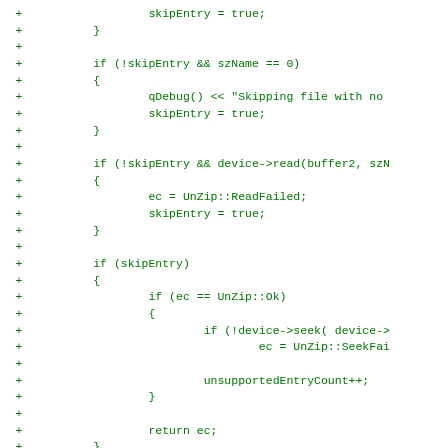Diff/code fragment showing additions to a C++ unzip routine, including skipEntry logic, UnZip::ReadFailed, UnZip::Ok, device->seek, UnZip::SeekFailed, unsupportedEntryCount++, return ec, and QString filename = QString::fromAscii(buffer...